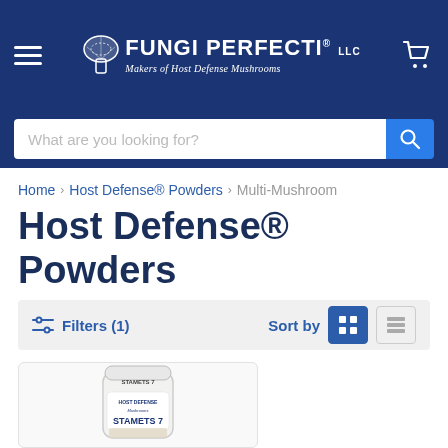FUNGI PERFECTI LLC — Makers of Host Defense Mushrooms
What are you looking for?
Home > Host Defense® Powders > Multi-Mushroom
Host Defense® Powders
Filters (1)   Sort by
[Figure (photo): Product photo of Stamets 7 Host Defense Mushrooms powder container, white cylindrical jar with label visible at bottom of page]